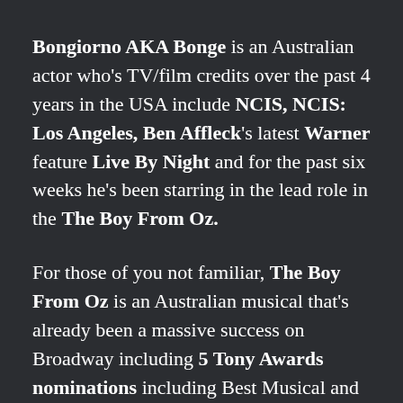Bongiorno AKA Bonge is an Australian actor who's TV/film credits over the past 4 years in the USA include NCIS, NCIS: Los Angeles, Ben Affleck's latest Warner feature Live By Night and for the past six weeks he's been starring in the lead role in the The Boy From Oz.
For those of you not familiar, The Boy From Oz is an Australian musical that's already been a massive success on Broadway including 5 Tony Awards nominations including Best Musical and Australia's very own Hugh Jackman winning Best Actor in a Musical.
The Boy From Oz focuses on the extraordinary life of legendary singer/songwriter Peter Allen, from his